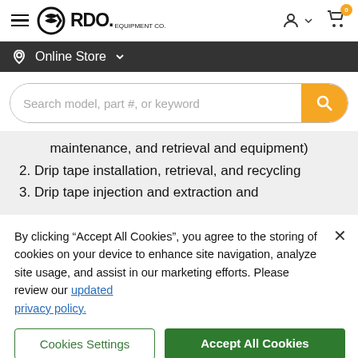[Figure (screenshot): RDO Equipment Co. website header with hamburger menu, RDO logo, user account icon, and shopping cart with 0 badge]
Online Store ▾
[Figure (screenshot): Search bar with placeholder 'Search model, part #, or keyword' and yellow search button]
maintenance, and retrieval and equipment)
2. Drip tape installation, retrieval, and recycling
3. Drip tape injection and extraction and
By clicking "Accept All Cookies", you agree to the storing of cookies on your device to enhance site navigation, analyze site usage, and assist in our marketing efforts. Please review our updated privacy policy.
Cookies Settings
Accept All Cookies
RDO Water's Managed Farm Services